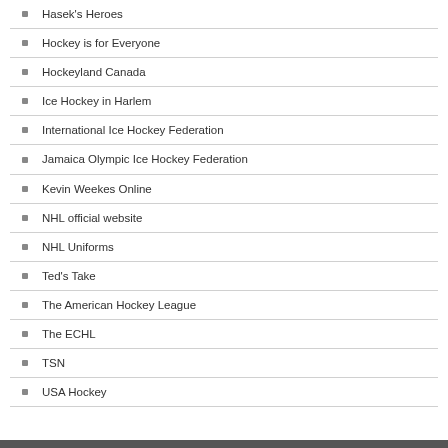Hasek's Heroes
Hockey is for Everyone
Hockeyland Canada
Ice Hockey in Harlem
International Ice Hockey Federation
Jamaica Olympic Ice Hockey Federation
Kevin Weekes Online
NHL official website
NHL Uniforms
Ted's Take
The American Hockey League
The ECHL
TSN
USA Hockey